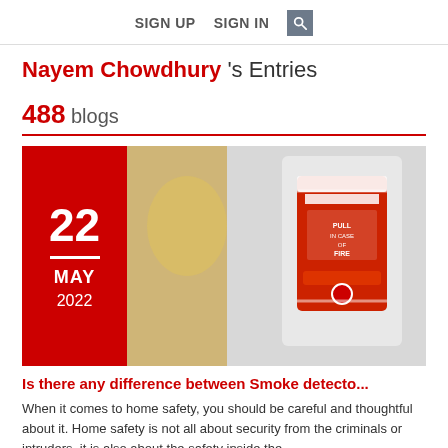SIGN UP   SIGN IN   [search icon]
Nayem Chowdhury 's Entries
488 blogs
[Figure (photo): Blog entry card showing a red fire alarm pull station mounted on a wall. The left side has a red date badge showing '22 / MAY / 2022'.]
Is there any difference between Smoke detecto...
When it comes to home safety, you should be careful and thoughtful about it. Home safety is not all about security from the criminals or intruders, it is also about the safety inside the...
👁 2792   Posted by Nayem Chowdhury